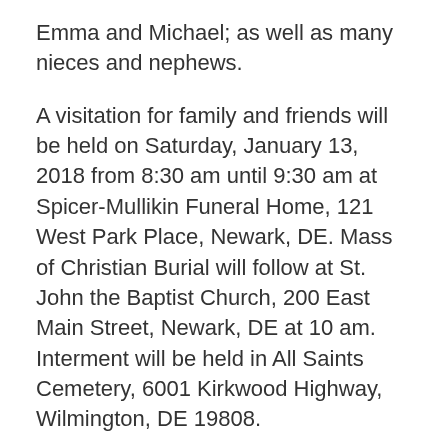Emma and Michael; as well as many nieces and nephews.
A visitation for family and friends will be held on Saturday, January 13, 2018 from 8:30 am until 9:30 am at Spicer-Mullikin Funeral Home, 121 West Park Place, Newark, DE. Mass of Christian Burial will follow at St. John the Baptist Church, 200 East Main Street, Newark, DE at 10 am. Interment will be held in All Saints Cemetery, 6001 Kirkwood Highway, Wilmington, DE 19808.
In lieu of flowers, donations can be made in Betty's honor to the Neil Nesterak Scholarship Fund, 420 West Main Street, Danville, VA 24541 or the Ronald McDonald House of Delaware, 1901 Rockland Road, Wilmington, DE 19803